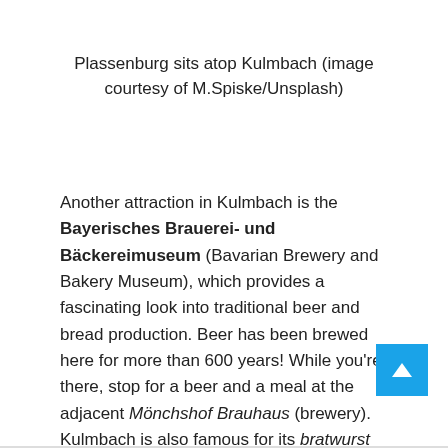Plassenburg sits atop Kulmbach (image courtesy of M.Spiske/Unsplash)
Another attraction in Kulmbach is the Bayerisches Brauerei- und Bäckereimuseum (Bavarian Brewery and Bakery Museum), which provides a fascinating look into traditional beer and bread production. Beer has been brewed here for more than 600 years! While you're there, stop for a beer and a meal at the adjacent Mönchshof Brauhaus (brewery). Kulmbach is also famous for its bratwurst (pork sausage) and this is a great place to try some if you wish.